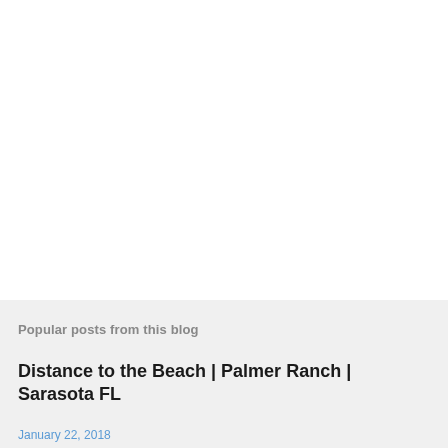Popular posts from this blog
Distance to the Beach | Palmer Ranch | Sarasota FL
January 22, 2018